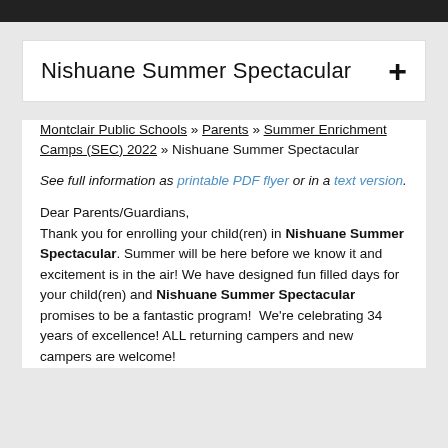Nishuane Summer Spectacular
Montclair Public Schools » Parents » Summer Enrichment Camps (SEC) 2022 » Nishuane Summer Spectacular
See full information as printable PDF flyer or in a text version.
Dear Parents/Guardians,
Thank you for enrolling your child(ren) in Nishuane Summer Spectacular. Summer will be here before we know it and excitement is in the air! We have designed fun filled days for your child(ren) and Nishuane Summer Spectacular promises to be a fantastic program!  We're celebrating 34 years of excellence! ALL returning campers and new campers are welcome!